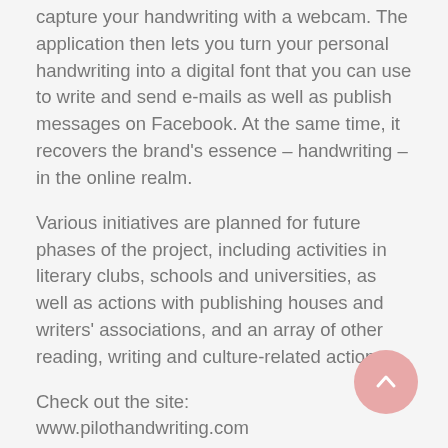capture your handwriting with a webcam. The application then lets you turn your personal handwriting into a digital font that you can use to write and send e-mails as well as publish messages on Facebook. At the same time, it recovers the brand's essence – handwriting – in the online realm.
Various initiatives are planned for future phases of the project, including activities in literary clubs, schools and universities, as well as actions with publishing houses and writers' associations, and an array of other reading, writing and culture-related actions.
Check out the site:
www.pilothandwriting.com
Youtube link:
https://www.youtube.com/user/PilotHandwriting